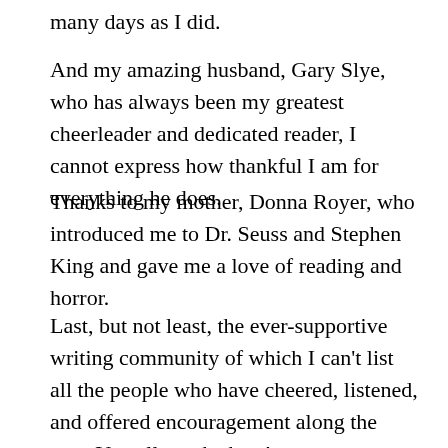many days as I did.
And my amazing husband, Gary Slye, who has always been my greatest cheerleader and dedicated reader, I cannot express how thankful I am for everything he does.
Thanks to my mother, Donna Royer, who introduced me to Dr. Seuss and Stephen King and gave me a love of reading and horror.
Last, but not least, the ever-supportive writing community of which I can't list all the people who have cheered, listened, and offered encouragement along the way. You all are the best!